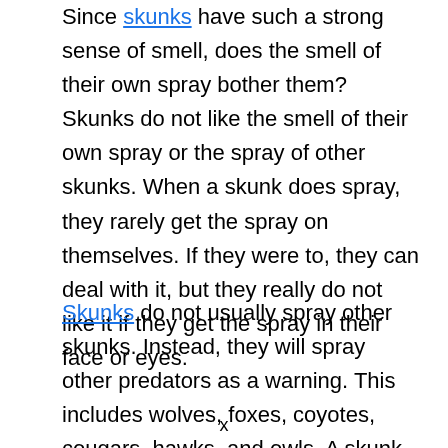Since skunks have such a strong sense of smell, does the smell of their own spray bother them? Skunks do not like the smell of their own spray or the spray of other skunks. When a skunk does spray, they rarely get the spray on themselves. If they were to, they can deal with it, but they really do not like it if they get the spray in their face or eyes.
Skunks do not usually spray other skunks. Instead, they will spray other predators as a warning. This includes wolves, foxes, coyotes, cougars, hawks, and owls. A skunk
x